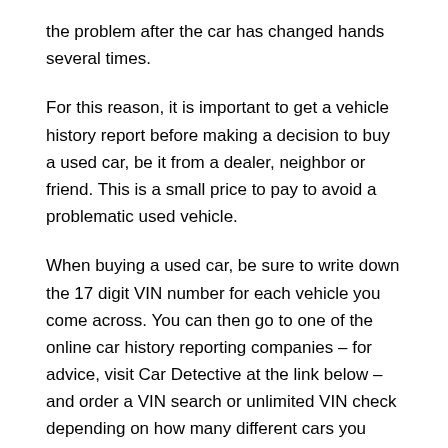the problem after the car has changed hands several times.
For this reason, it is important to get a vehicle history report before making a decision to buy a used car, be it from a dealer, neighbor or friend. This is a small price to pay to avoid a problematic used vehicle.
When buying a used car, be sure to write down the 17 digit VIN number for each vehicle you come across. You can then go to one of the online car history reporting companies – for advice, visit Car Detective at the link below – and order a VIN search or unlimited VIN check depending on how many different cars you want to inspect.